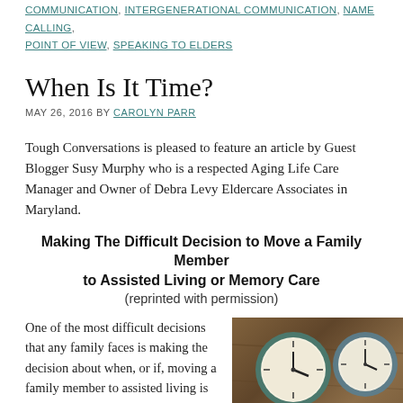COMMUNICATION, INTERGENERATIONAL COMMUNICATION, NAME CALLING, POINT OF VIEW, SPEAKING TO ELDERS
When Is It Time?
MAY 26, 2016 BY CAROLYN PARR
Tough Conversations is pleased to feature an article by Guest Blogger Susy Murphy who is a respected Aging Life Care Manager and Owner of Debra Levy Eldercare Associates in Maryland.
Making The Difficult Decision to Move a Family Member to Assisted Living or Memory Care
(reprinted with permission)
One of the most difficult decisions that any family faces is making the decision about when, or if, moving a family member to assisted living is the right
[Figure (photo): Multiple analog clocks of different sizes and colors (teal, blue-green, dark, and red frames) arranged on a wooden surface, photographed from above.]